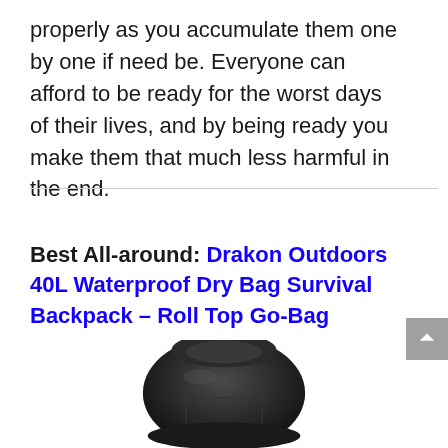properly as you accumulate them one by one if need be. Everyone can afford to be ready for the worst days of their lives, and by being ready you make them that much less harmful in the end.
Best All-around: Drakon Outdoors 40L Waterproof Dry Bag Survival Backpack – Roll Top Go-Bag
[Figure (photo): Bottom portion of a dark backpack (Drakon Outdoors 40L Waterproof Dry Bag Survival Backpack) shown partially, cut off at the bottom of the page.]